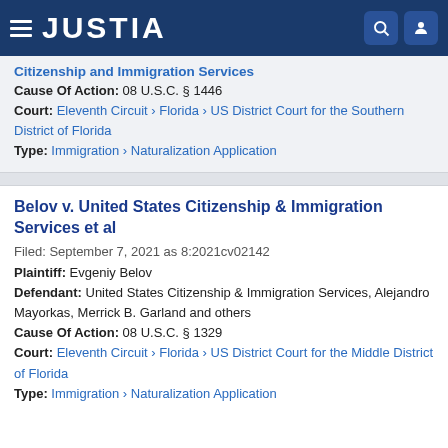JUSTIA
Citizenship and Immigration Services
Cause Of Action: 08 U.S.C. § 1446
Court: Eleventh Circuit › Florida › US District Court for the Southern District of Florida
Type: Immigration › Naturalization Application
Belov v. United States Citizenship & Immigration Services et al
Filed: September 7, 2021 as 8:2021cv02142
Plaintiff: Evgeniy Belov
Defendant: United States Citizenship & Immigration Services, Alejandro Mayorkas, Merrick B. Garland and others
Cause Of Action: 08 U.S.C. § 1329
Court: Eleventh Circuit › Florida › US District Court for the Middle District of Florida
Type: Immigration › Naturalization Application